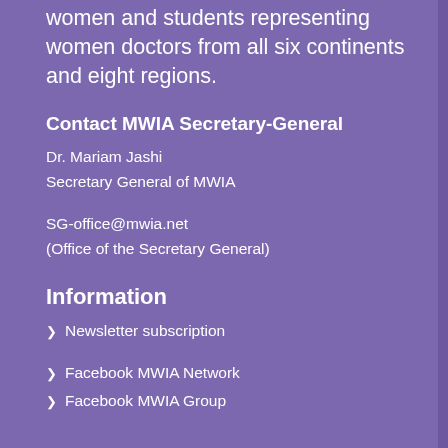women and students representing women doctors from all six continents and eight regions.
Contact MWIA Secretary-General
Dr. Mariam Jashi
Secretary General of MWIA
SG-office@mwia.net
(Office of the Secretary General)
Information
Newsletter subscription
Facebook MWIA Network
Facebook MWIA Group